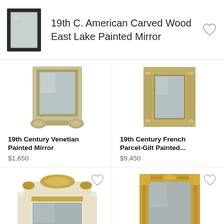19th C. American Carved Wood East Lake Painted Mirror
[Figure (photo): Thumbnail of 19th C. American Carved Wood East Lake Painted Mirror — dark wood rectangular frame]
[Figure (photo): 19th Century Venetian Painted Mirror — ornate silver-painted frame with scrollwork at bottom]
19th Century Venetian Painted Mirror
$1,650
[Figure (photo): 19th Century French Parcel-Gilt Painted mirror — gold column-flanked rectangular frame]
19th Century French Parcel-Gilt Painted...
$9,450
[Figure (photo): Antique Mirror in Carved Wood, Lacquered and ... — cream/ivory painted mantel-style mirror with gold carved crest]
Antique Mirror in Carved Wood, Lacquered and
[Figure (photo): 19th Century French Painted Mantle Pier mirror — gold rectangular frame]
19th Century French Painted Mantle Pier